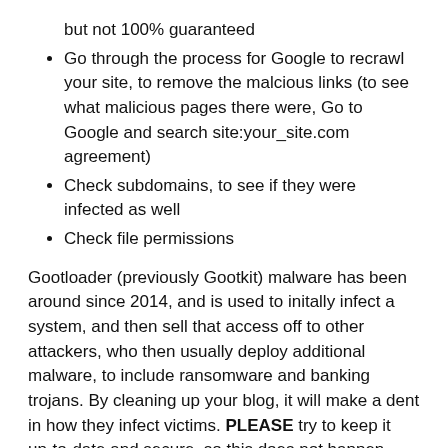but not 100% guaranteed
Go through the process for Google to recrawl your site, to remove the malcious links (to see what malicious pages there were, Go to Google and search site:your_site.com agreement)
Check subdomains, to see if they were infected as well
Check file permissions
Gootloader (previously Gootkit) malware has been around since 2014, and is used to initally infect a system, and then sell that access off to other attackers, who then usually deploy additional malware, to include ransomware and banking trojans. By cleaning up your blog, it will make a dent in how they infect victims. PLEASE try to keep it up-to-date and secure, so this does not happen again.
Sincerly,